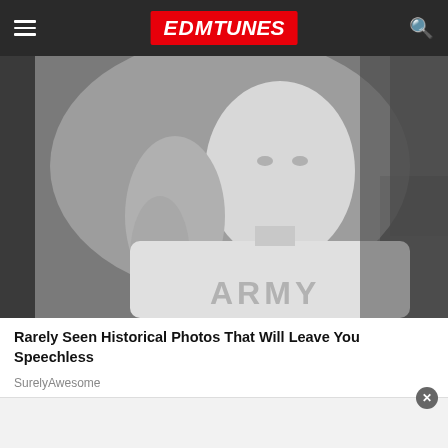EDMTunes
[Figure (photo): Black and white photo of a young woman with a blonde ponytail wearing an ARMY t-shirt, looking sideways with a serious expression]
Rarely Seen Historical Photos That Will Leave You Speechless
SurelyAwesome
[Figure (other): Advertisement banner area with a close/dismiss button]